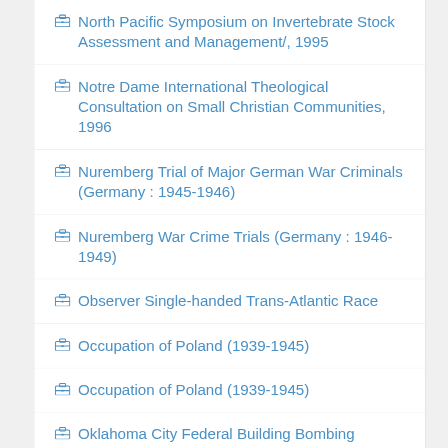North Pacific Symposium on Invertebrate Stock Assessment and Management/, 1995
Notre Dame International Theological Consultation on Small Christian Communities, 1996
Nuremberg Trial of Major German War Criminals (Germany : 1945-1946)
Nuremberg War Crime Trials (Germany : 1946-1949)
Observer Single-handed Trans-Atlantic Race
Occupation of Poland (1939-1945)
Occupation of Poland (1939-1945)
Oklahoma City Federal Building Bombing (Oklahoma : 1995)
Oklahoma City Federal Building Bombing